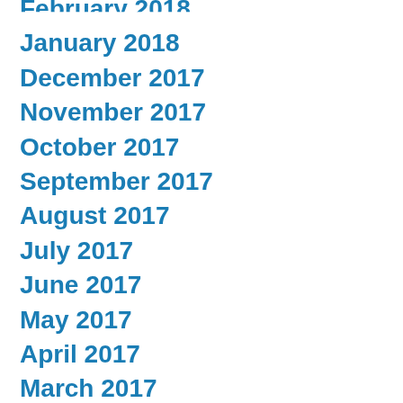February 2018
January 2018
December 2017
November 2017
October 2017
September 2017
August 2017
July 2017
June 2017
May 2017
April 2017
March 2017